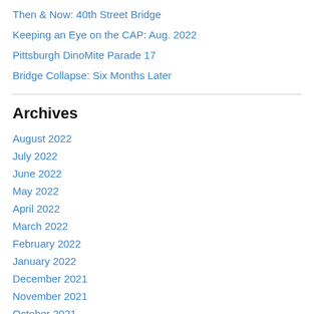Then & Now: 40th Street Bridge
Keeping an Eye on the CAP: Aug. 2022
Pittsburgh DinoMite Parade 17
Bridge Collapse: Six Months Later
Archives
August 2022
July 2022
June 2022
May 2022
April 2022
March 2022
February 2022
January 2022
December 2021
November 2021
October 2021
September 2021